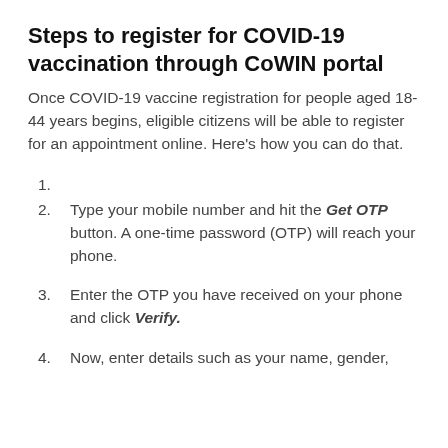Steps to register for COVID-19 vaccination through CoWIN portal
Once COVID-19 vaccine registration for people aged 18-44 years begins, eligible citizens will be able to register for an appointment online. Here's how you can do that.
1.
2. Type your mobile number and hit the Get OTP button. A one-time password (OTP) will reach your phone.
3. Enter the OTP you have received on your phone and click Verify.
4. Now, enter details such as your name, gender,